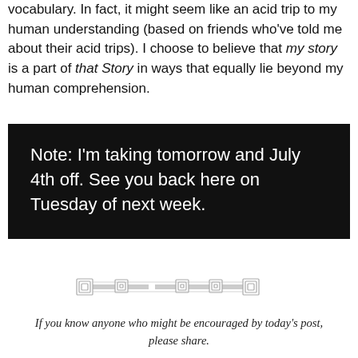vocabulary. In fact, it might seem like an acid trip to my human understanding (based on friends who've told me about their acid trips). I choose to believe that my story is a part of that Story in ways that equally lie beyond my human comprehension.
Note: I'm taking tomorrow and July 4th off. See you back here on Tuesday of next week.
[Figure (illustration): Decorative horizontal divider made of ornamental geometric/Celtic-style elements in gray on white background.]
If you know anyone who might be encouraged by today's post, please share.